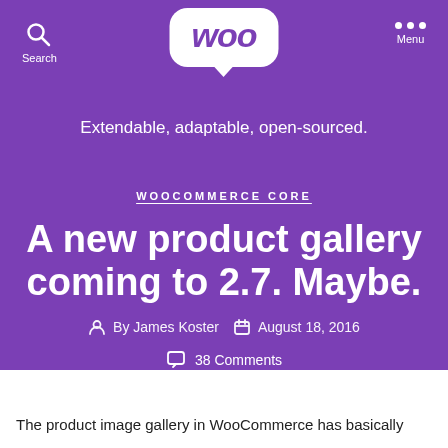Woo — Extendable, adaptable, open-sourced.
WOOCOMMERCE CORE
A new product gallery coming to 2.7. Maybe.
By James Koster   August 18, 2016   38 Comments
The product image gallery in WooCommerce has basically